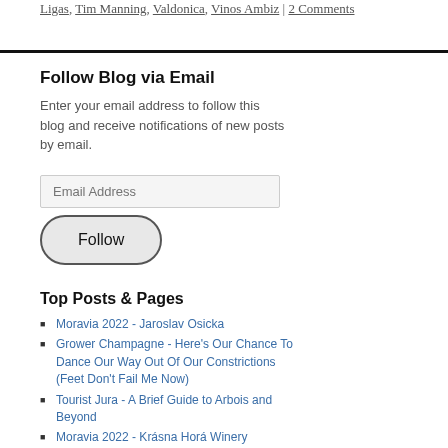Ligas, Tim Manning, Valdonica, Vinos Ambiz | 2 Comments
Follow Blog via Email
Enter your email address to follow this blog and receive notifications of new posts by email.
Top Posts & Pages
Moravia 2022 - Jaroslav Osicka
Grower Champagne - Here's Our Chance To Dance Our Way Out Of Our Constrictions (Feet Don't Fail Me Now)
Tourist Jura - A Brief Guide to Arbois and Beyond
Moravia 2022 - Krásna Horá Winery
Regenerative Viticulture by Dr Jamie Goode (Book Review)